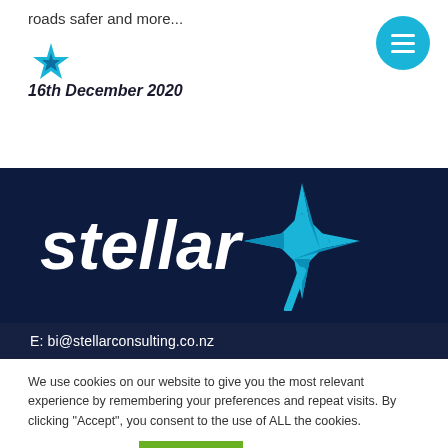roads safer and more...
[Figure (logo): Stellar consulting star logo in cyan/blue color]
16th December 2020
[Figure (other): Cyan circular menu button with three horizontal white lines]
[Figure (logo): Stellar consulting full logo on dark navy background - white italic text 'stellar' with cyan star graphic]
E: bi@stellarconsulting.co.nz
We use cookies on our website to give you the most relevant experience by remembering your preferences and repeat visits. By clicking “Accept”, you consent to the use of ALL the cookies.
Cookie settings
ACCEPT